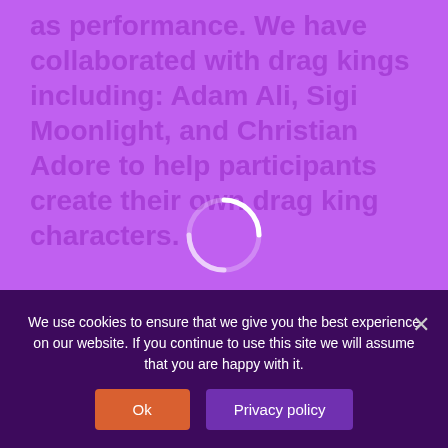as performance. We have collaborated with drag kings including: Adam Ali, Sigi Moonlight, and Christian Adore to help participants create their own drag king characters.

We deliver workshops both online and in person. Make sure to sign up to our newsletter to be first to hear about new sessions.
[Figure (other): Loading spinner — a circular arc in light purple/white indicating a loading state]
We use cookies to ensure that we give you the best experience on our website. If you continue to use this site we will assume that you are happy with it.